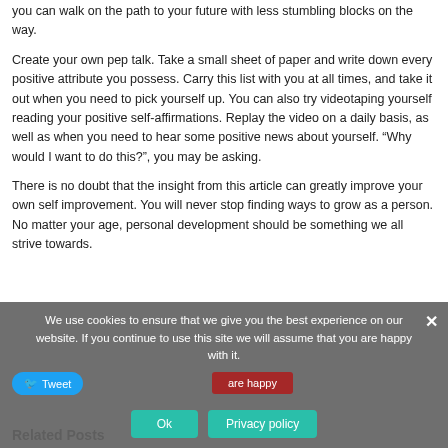you can walk on the path to your future with less stumbling blocks on the way.
Create your own pep talk. Take a small sheet of paper and write down every positive attribute you possess. Carry this list with you at all times, and take it out when you need to pick yourself up. You can also try videotaping yourself reading your positive self-affirmations. Replay the video on a daily basis, as well as when you need to hear some positive news about yourself. “Why would I want to do this?”, you may be asking.
There is no doubt that the insight from this article can greatly improve your own self improvement. You will never stop finding ways to grow as a person. No matter your age, personal development should be something we all strive towards.
We use cookies to ensure that we give you the best experience on our website. If you continue to use this site we will assume that you are happy with it.
Related Posts